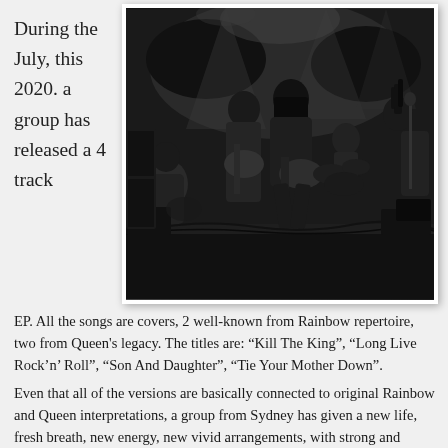During the July, this 2020. a group has released a 4 track
[Figure (photo): Black and white live concert photo of a rock band performing on stage, multiple musicians with guitars and a drummer visible, atmospheric stage lighting]
EP. All the songs are covers, 2 well-known from Rainbow repertoire, two from Queen's legacy. The titles are: “Kill The King”, “Long Live Rock’n’ Roll”, “Son And Daughter”, “Tie Your Mother Down”.
Even that all of the versions are basically connected to original Rainbow and Queen interpretations, a group from Sydney has given a new life, fresh breath, new energy, new vivid arrangements, with strong and powerful vocalizations of female fronted singer – Screaming Loz Sutch (this is her